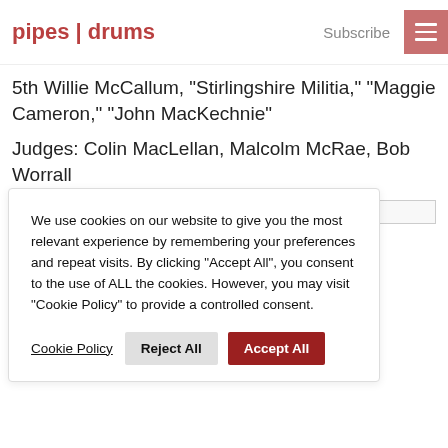pipes | drums  Subscribe
5th Willie McCallum, “Stirlingshire Militia,” “Maggie Cameron,” “John MacKechnie”
Judges: Colin MacLellan, Malcolm McRae, Bob Worrall
[Figure (photo): Partially loaded image placeholder]
We use cookies on our website to give you the most relevant experience by remembering your preferences and repeat visits. By clicking “Accept All”, you consent to the use of ALL the cookies. However, you may visit "Cookie Policy" to provide a controlled consent.